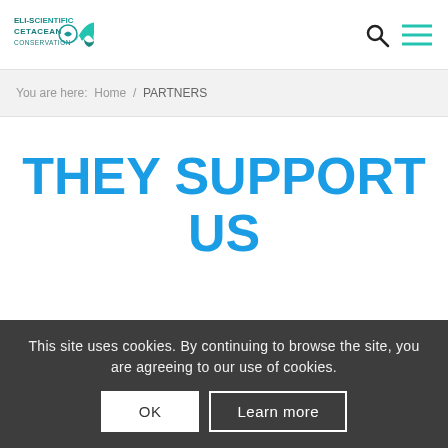[Figure (logo): ELI-Scientific Cetacean Conservation logo with teal whale tail graphic]
You are here:  Home  /  PARTNERS
THEY SUPPORT US
This site uses cookies. By continuing to browse the site, you are agreeing to our use of cookies.
OK    Learn more